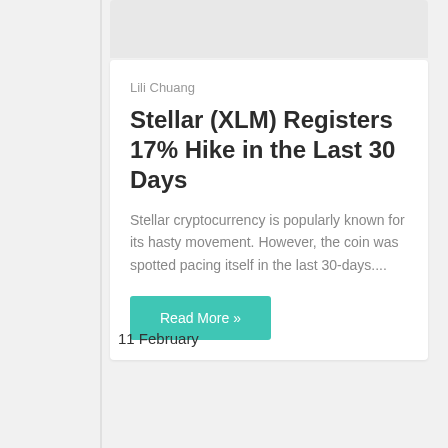[Figure (photo): Gray placeholder image at top of article card]
Lili Chuang
Stellar (XLM) Registers 17% Hike in the Last 30 Days
Stellar cryptocurrency is popularly known for its hasty movement. However, the coin was spotted pacing itself in the last 30-days....
Read More »
11 February